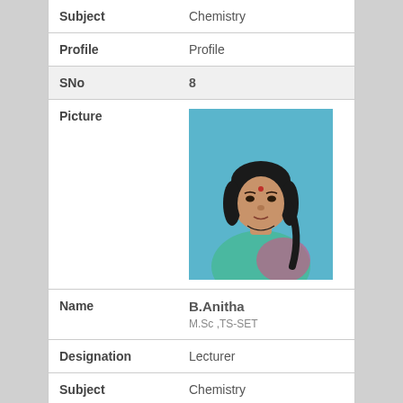| Field | Value |
| --- | --- |
| Subject | Chemistry |
| Profile | Profile |
| SNo | 8 |
| Picture | [photo of B.Anitha] |
| Name | B.Anitha
M.Sc ,TS-SET |
| Designation | Lecturer |
| Subject | Chemistry |
| Profile | Profile |